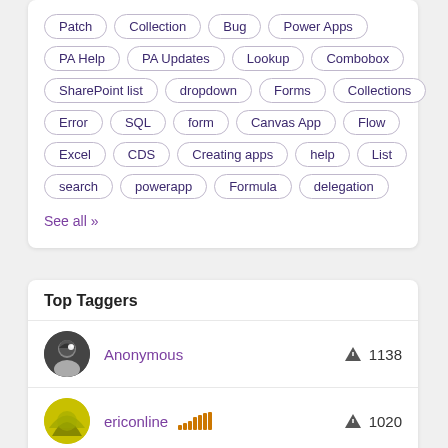Patch Collection Bug Power Apps
PA Help PA Updates Lookup Combobox
SharePoint list dropdown Forms Collections
Error SQL form Canvas App Flow
Excel CDS Creating apps help List
search powerapp Formula delegation
See all >>
Top Taggers
Anonymous 1138
ericonline 1020